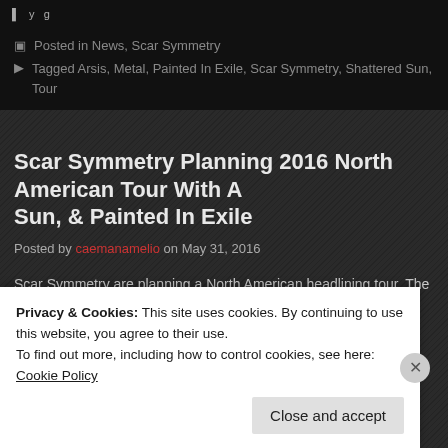Posted in News, Scar Symmetry
Tagged Arsis, Metal, Painted In Exile, Scar Symmetry, Shattered Sun, Tour
Scar Symmetry Planning 2016 North American Tour With Arsis, Shattered Sun, & Painted In Exile
Posted by caemanamelio on May 31, 2016
Scar Symmetry are planning a North American headlining tour. The band will be joined by special guests Arsis, Shattered Sun, and Painted In Exile on this run.
Privacy & Cookies: This site uses cookies. By continuing to use this website, you agree to their use. To find out more, including how to control cookies, see here: Cookie Policy